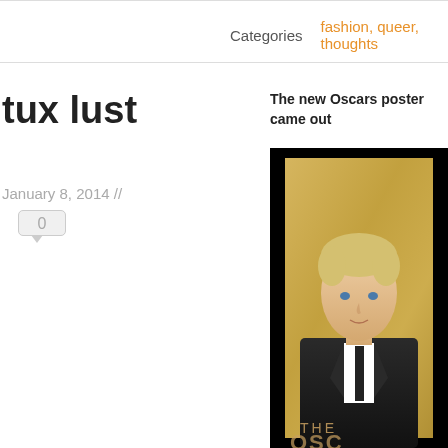Categories   fashion, queer, thoughts
tux lust
January 8, 2014 //
0
The new Oscars poster came out
[Figure (photo): Oscars poster featuring a blonde person in a black tuxedo against a gold textured background, with 'THE OSC...' text visible at the bottom]